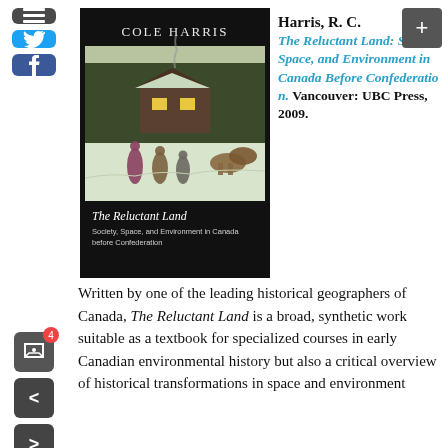[Figure (photo): Book cover of 'The Reluctant Land: Society, Space, and Environment in Canada Before Confederation' by Cole Harris, showing a winter scene painting with people and horses in the snow.]
Harris, R. C. The Reluctant Land: Society, Space, and Environment in Canada Before Confederation. Vancouver: UBC Press, 2009.
Written by one of the leading historical geographers of Canada, The Reluctant Land is a broad, synthetic work suitable as a textbook for specialized courses in early Canadian environmental history but also a critical overview of historical transformations in space and environment